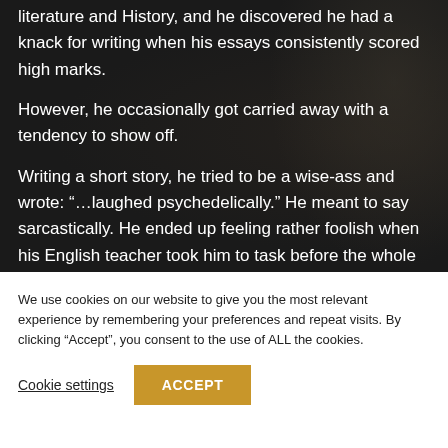literature and History, and he discovered he had a knack for writing when his essays consistently scored high marks.
However, he occasionally got carried away with a tendency to show off.
Writing a short story, he tried to be a wise-ass and wrote: “…laughed psychedelically.” He meant to say sarcastically. He ended up feeling rather foolish when his English teacher took him to task before the whole class.
We use cookies on our website to give you the most relevant experience by remembering your preferences and repeat visits. By clicking “Accept”, you consent to the use of ALL the cookies.
Cookie settings
ACCEPT